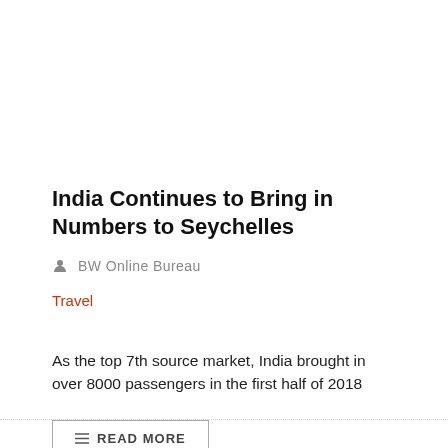India Continues to Bring in Numbers to Seychelles
BW Online Bureau
Travel
As the top 7th source market, India brought in over 8000 passengers in the first half of 2018
READ MORE